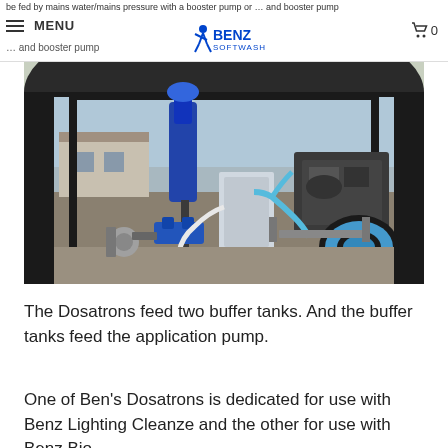be fed by mains water/mains pressure with a booster pump or … and booster pump
[Figure (photo): Interior of a vehicle showing water treatment/pump system with blue Dosatron pumps, hoses, tanks, and an engine mounted in the back of a van or trailer]
The Dosatrons feed two buffer tanks. And the buffer tanks feed the application pump.
One of Ben's Dosatrons is dedicated for use with Benz Lighting Cleanze and the other for use with Benz Bio